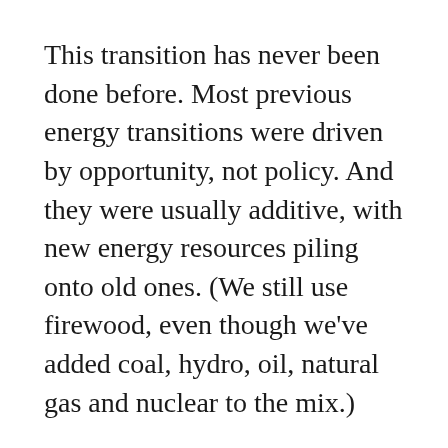This transition has never been done before. Most previous energy transitions were driven by opportunity, not policy. And they were usually additive, with new energy resources piling onto old ones. (We still use firewood, even though we've added coal, hydro, oil, natural gas and nuclear to the mix.)
Since the renewable-energy revolution will require trading fossil fuels for alternatives such as wind, solar, hydro,